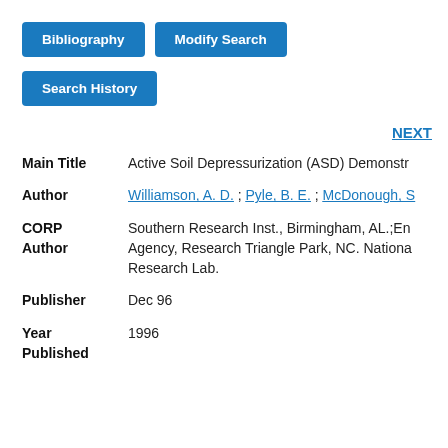Bibliography
Modify Search
Search History
NEXT
| Field | Value |
| --- | --- |
| Main Title | Active Soil Depressurization (ASD) Demonstr... |
| Author | Williamson, A. D. ; Pyle, B. E. ; McDonough, S... |
| CORP Author | Southern Research Inst., Birmingham, AL.;En... Agency, Research Triangle Park, NC. Nationa... Research Lab. |
| Publisher | Dec 96 |
| Year Published | 1996 |